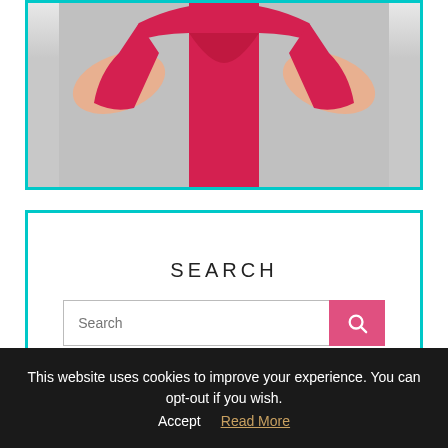[Figure (photo): Person wearing a red/pink short-sleeve shirt, cropped to show torso and arms against a gray background]
SEARCH
Search
This website uses cookies to improve your experience. You can opt-out if you wish.
Accept
Read More